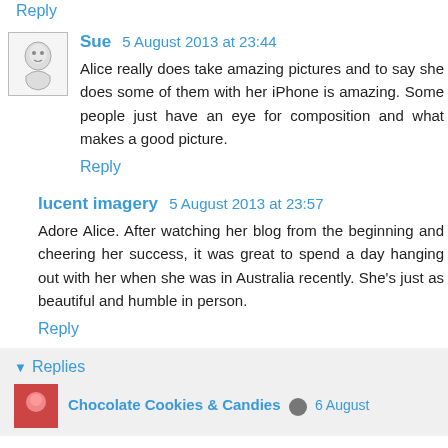Reply
Sue 5 August 2013 at 23:44
Alice really does take amazing pictures and to say she does some of them with her iPhone is amazing. Some people just have an eye for composition and what makes a good picture.
Reply
lucent imagery 5 August 2013 at 23:57
Adore Alice. After watching her blog from the beginning and cheering her success, it was great to spend a day hanging out with her when she was in Australia recently. She's just as beautiful and humble in person.
Reply
Replies
Chocolate Cookies & Candies 6 August